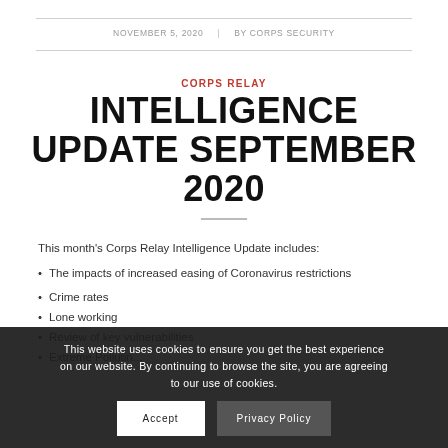NOVEMBER 5, 2020 | BY CORPS SECURITY
CORPS RELAY
INTELLIGENCE UPDATE SEPTEMBER 2020
This month’s Corps Relay Intelligence Update includes:
The impacts of increased easing of Coronavirus restrictions
Crime rates
Lone working
Review of key vulnerabilities
Extreme Pollutin...